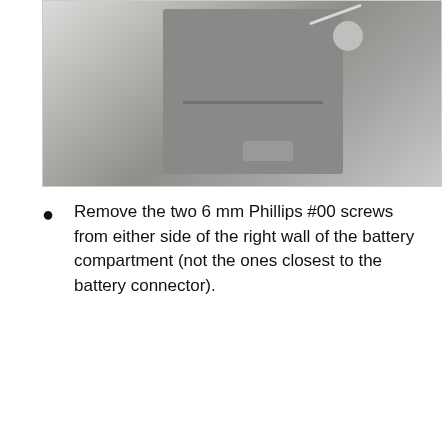[Figure (photo): Photo of an open MacBook battery compartment showing the right wall area with screws]
Remove the two 6 mm Phillips #00 screws from either side of the right wall of the battery compartment (not the ones closest to the battery connector).
2개의 댓글
단계 8
[Figure (photo): MacBook Core Duo Upper Case Cable Replacement: 단계 8 이미지 1/1]